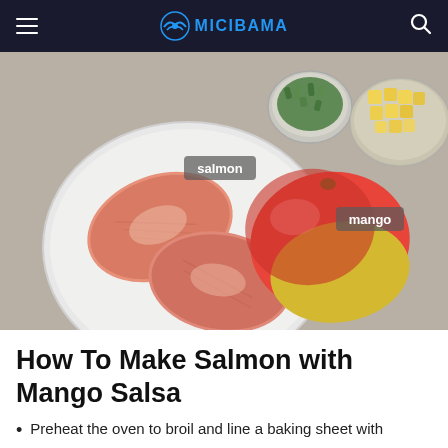MICIBAMA
[Figure (photo): Overhead photo of salmon fillets on a white plate, a whole mango, a small bowl of chopped green herbs, and a bowl of diced mango on a grey stone surface. Labels 'salmon' and 'mango' are overlaid on the image.]
How To Make Salmon with Mango Salsa
Preheat the oven to broil and line a baking sheet with